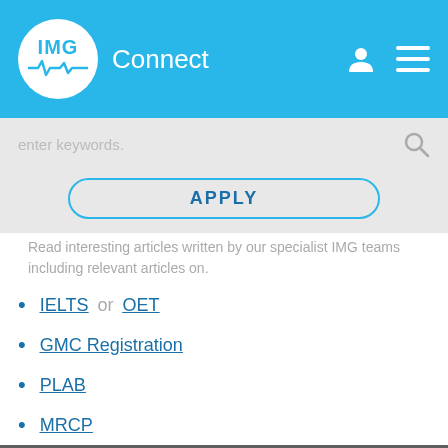[Figure (logo): IMG Connect logo with blue circle and ECG wave, white text 'IMG' inside circle, 'Connect' text to the right]
enter keywords.
APPLY
Read interesting articles written by our specialist IMG teams including relevant articles on.
IELTS or OET
GMC Registration
PLAB
MRCP
Equivalent Qualifications
We use cookies to give you the best experience on our website. Click here for more information.
An Acute Medicine Doctor's Route to the UK
What can you expect to do as part of